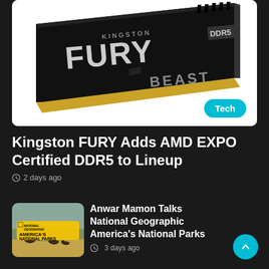[Figure (photo): Kingston FURY Beast DDR5 RAM module with black heatspreader, gold contacts, with FURY and BEAST labels, against white background. Tech badge in teal at bottom right.]
Kingston FURY Adds AMD EXPO Certified DDR5 to Lineup
2 days ago
[Figure (photo): Thumbnail of America's National Parks with bison on grassland, National Geographic branded.]
Anwar Mamon Talks National Geographic America's National Parks
3 days ago